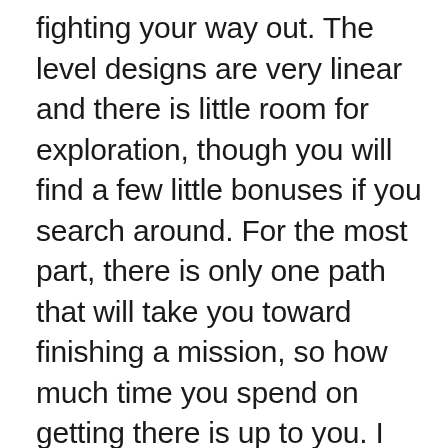fighting your way out. The level designs are very linear and there is little room for exploration, though you will find a few little bonuses if you search around. For the most part, there is only one path that will take you toward finishing a mission, so how much time you spend on getting there is up to you. I would sometimes enjoy getting to explore, while in other missions I wanted to just get them over with.